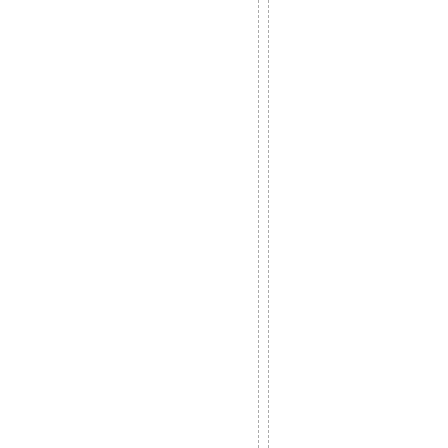/ 2011 | Tags: 200m3 . 2010 . Кур